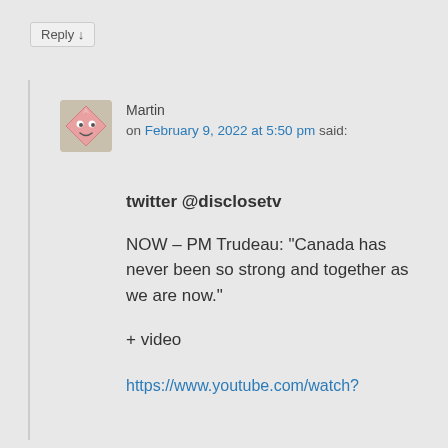Reply ↓
[Figure (illustration): Cartoon avatar icon showing a pink diamond-shaped face character with eyes and mouth]
Martin
on February 9, 2022 at 5:50 pm said:
twitter @disclosetv
NOW – PM Trudeau: “Canada has never been so strong and together as we are now.”
+ video
https://www.youtube.com/watch?